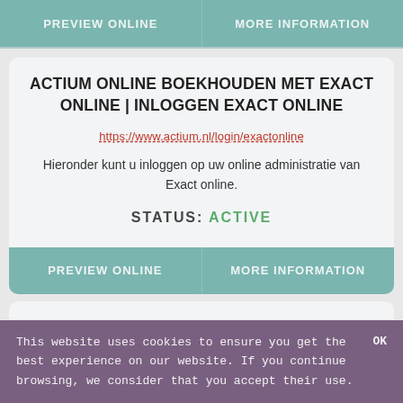[Figure (screenshot): Top navigation bar with two buttons: PREVIEW ONLINE and MORE INFORMATION on a teal/muted green background]
ACTIUM ONLINE BOEKHOUDEN MET EXACT ONLINE | INLOGGEN EXACT ONLINE
https://www.actium.nl/login/exactonline
Hieronder kunt u inloggen op uw online administratie van Exact online.
STATUS: ACTIVE
[Figure (screenshot): Bottom navigation bar with two buttons: PREVIEW ONLINE and MORE INFORMATION on teal background]
This website uses cookies to ensure you get the best experience on our website. If you continue browsing, we consider that you accept their use.